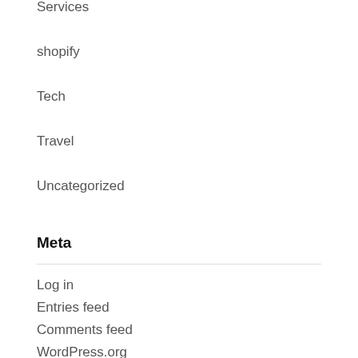Services
shopify
Tech
Travel
Uncategorized
Meta
Log in
Entries feed
Comments feed
WordPress.org